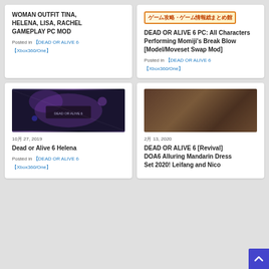WOMAN OUTFIT TINA, HELENA, LISA, RACHEL GAMEPLAY PC MOD
Posted in 【DEAD OR ALIVE 6
【Xbox360/One】
[Figure (other): Japanese banner/advertisement image with orange border]
DEAD OR ALIVE 6 PC: All Characters Performing Momiji's Break Blow [Model/Moveset Swap Mod]
Posted in 【DEAD OR ALIVE 6
【Xbox360/One】
[Figure (screenshot): Dark game screenshot from Dead or Alive 6 showing a character selection or gameplay screen with blue/purple lighting]
10月 27, 2019
Dead or Alive 6 Helena
Posted in 【DEAD OR ALIVE 6
【Xbox360/One】
[Figure (screenshot): Dark brown-toned game screenshot from Dead or Alive 6 showing characters in action]
2月 13, 2020
DEAD OR ALIVE 6 [Revival] DOA6 Alluring Mandarin Dress Set 2020! Leifang and Nico